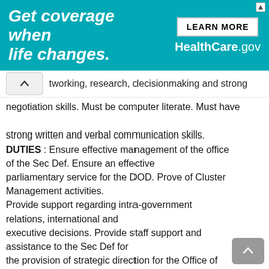[Figure (screenshot): Advertisement banner for HealthCare.gov with teal background. Text reads 'Get coverage when life changes.' with a 'LEARN MORE' button and 'HealthCare.gov' branding on the right.]
tworking, research, decisionmaking and strong negotiation skills. Must be computer literate. Must have
strong written and verbal communication skills. DUTIES : Ensure effective management of the office of the Sec Def. Ensure an effective parliamentary service for the DOD. Prove of Cluster Management activities. Provide support regarding intra-government relations, international and executive decisions. Provide staff support and assistance to the Sec Def for the provision of strategic direction for the Office of the Sec Def and Defence Secretariat. Provide secretarial service for all